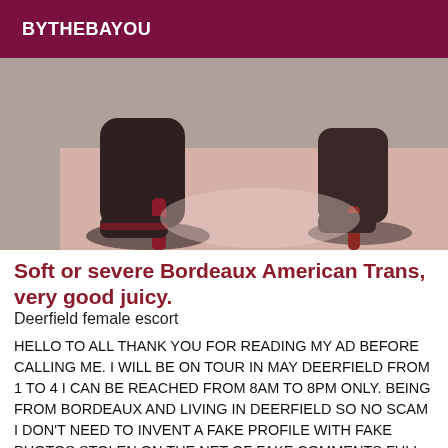BYTHEBAYOU
[Figure (photo): Close-up photo of high-heeled shoes on a light background]
Soft or severe Bordeaux American Trans, very good juicy.
Deerfield female escort
HELLO TO ALL THANK YOU FOR READING MY AD BEFORE CALLING ME. I WILL BE ON TOUR IN MAY DEERFIELD FROM 1 TO 4 I CAN BE REACHED FROM 8AM TO 8PM ONLY. BEING FROM BORDEAUX AND LIVING IN DEERFIELD SO NO SCAM I DON'T NEED TO INVENT A FAKE PROFILE WITH FAKE PHOTOS STOLEN ON THE NET OF FAKE COMMENTS FULL